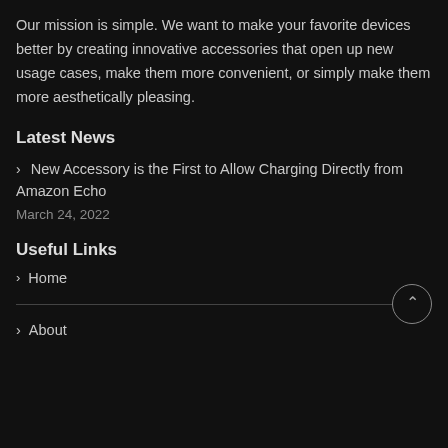Our mission is simple. We want to make your favorite devices better by creating innovative accessories that open up new usage cases, make them more convenient, or simply make them more aesthetically pleasing.
Latest News
> New Accessory is the First to Allow Charging Directly from Amazon Echo
March 24, 2022
Useful Links
> Home
> About